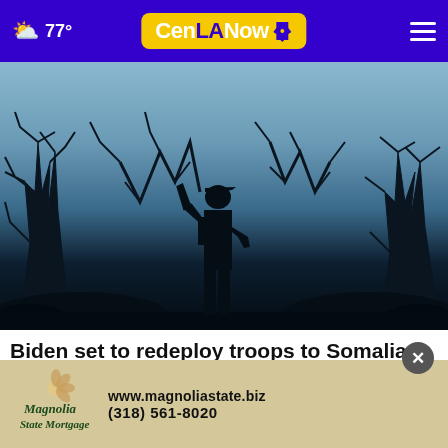77° CenLANow
[Figure (photo): Silhouette of an armed soldier standing among bare tree branches against a blue-grey dusk sky]
Biden set to redeploy troops to Somalia, reversing Trump withdrawal
[Figure (other): Advertisement for Magnolia State Mortgage showing logo, website www.magnoliastate.biz, and phone number (318) 561-8020]